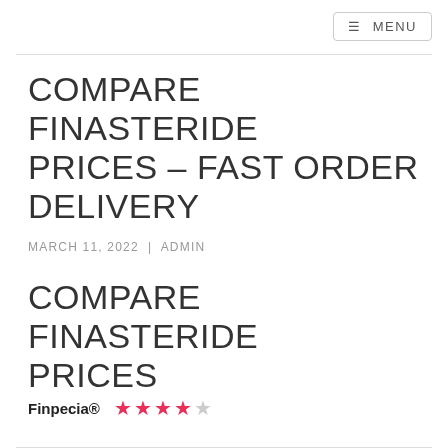≡ MENU
COMPARE FINASTERIDE PRICES – FAST ORDER DELIVERY
MARCH 11, 2022 | ADMIN
COMPARE FINASTERIDE PRICES
Finpecia® ★★★★☆